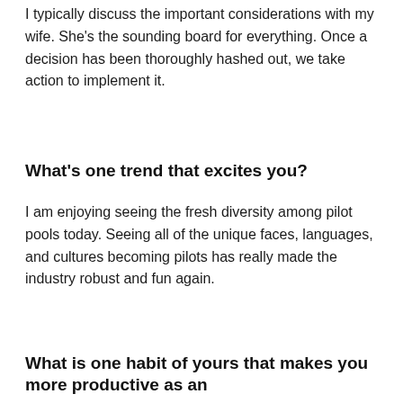I typically discuss the important considerations with my wife. She's the sounding board for everything. Once a decision has been thoroughly hashed out, we take action to implement it.
What's one trend that excites you?
I am enjoying seeing the fresh diversity among pilot pools today. Seeing all of the unique faces, languages, and cultures becoming pilots has really made the industry robust and fun again.
What is one habit of yours that makes you more productive as an